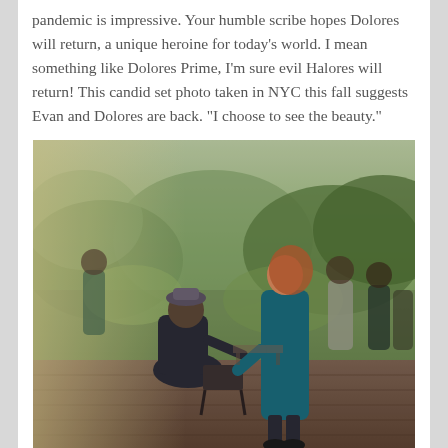pandemic is impressive. Your humble scribe hopes Dolores will return, a unique heroine for today's world. I mean something like Dolores Prime, I'm sure evil Halores will return! This candid set photo taken in NYC this fall suggests Evan and Dolores are back. "I choose to see the beauty."
[Figure (photo): Candid on-set photo of Evan Rachel Wood in a teal coat, leaning toward a seated person on what appears to be a park boardwalk in New York City, surrounded by lush greenery and other people in the background.]
Evan Rachel Wood on set in New York